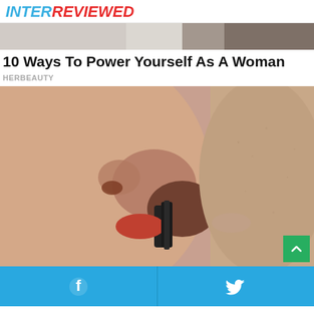INTERREVIEWED
[Figure (photo): Partial top image strip showing blurred background scene]
10 Ways To Power Yourself As A Woman
HERBEAUTY
[Figure (photo): Close-up photo of two faces kissing, one wearing red lipstick applying lipstick between them]
Facebook share button | Twitter share button